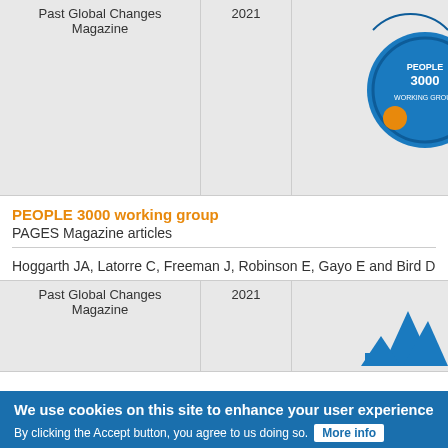| Past Global Changes Magazine | 2021 |  |
| --- | --- | --- |
PEOPLE 3000 working group
PAGES Magazine articles
Hoggarth JA, Latorre C, Freeman J, Robinson E, Gayo E and Bird D
| Past Global Changes Magazine | 2021 |  |
| --- | --- | --- |
We use cookies on this site to enhance your user experience
By clicking the Accept button, you agree to us doing so.
More info